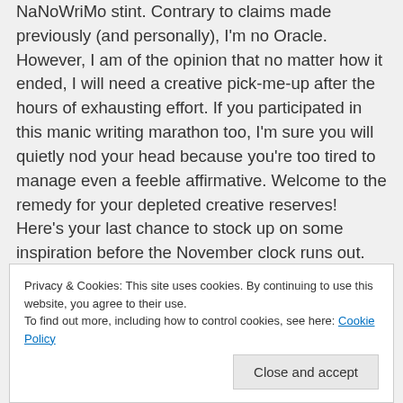NaNoWriMo stint. Contrary to claims made previously (and personally), I'm no Oracle. However, I am of the opinion that no matter how it ended, I will need a creative pick-me-up after the hours of exhausting effort. If you participated in this manic writing marathon too, I'm sure you will quietly nod your head because you're too tired to manage even a feeble affirmative. Welcome to the remedy for your depleted creative reserves! Here's your last chance to stock up on some inspiration before the November clock runs out. Now that we all realised that I will make a horrible salesman, let's cut to the chase.
Privacy & Cookies: This site uses cookies. By continuing to use this website, you agree to their use. To find out more, including how to control cookies, see here: Cookie Policy
Close and accept